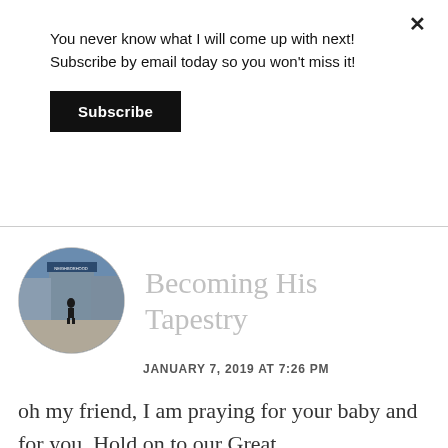You never know what I will come up with next! Subscribe by email today so you won't miss it!
Subscribe
Becoming His Tapestry
JANUARY 7, 2019 AT 7:26 PM
oh my friend, I am praying for your baby and for you. Hold on to our Great